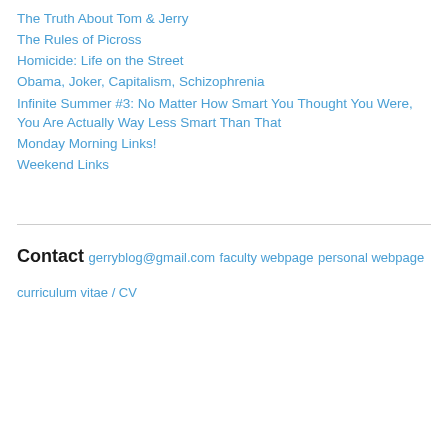The Truth About Tom & Jerry
The Rules of Picross
Homicide: Life on the Street
Obama, Joker, Capitalism, Schizophrenia
Infinite Summer #3: No Matter How Smart You Thought You Were, You Are Actually Way Less Smart Than That
Monday Morning Links!
Weekend Links
Contact
gerryblog@gmail.com
faculty webpage
personal webpage
curriculum vitae / CV